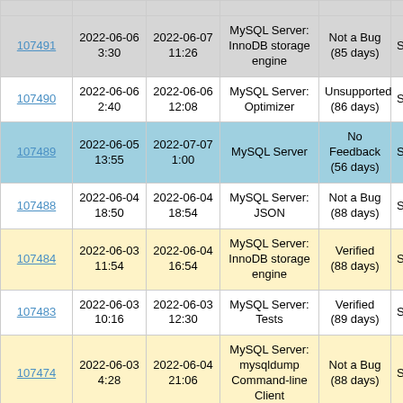| ID | Submitted | Closed | Category | Resolution | Sev |
| --- | --- | --- | --- | --- | --- |
| 107491 | 2022-06-06 3:30 | 2022-06-07 11:26 | MySQL Server: InnoDB storage engine | Not a Bug (85 days) | S5 |
| 107490 | 2022-06-06 2:40 | 2022-06-06 12:08 | MySQL Server: Optimizer | Unsupported (86 days) | S3 |
| 107489 | 2022-06-05 13:55 | 2022-07-07 1:00 | MySQL Server | No Feedback (56 days) | S1 |
| 107488 | 2022-06-04 18:50 | 2022-06-04 18:54 | MySQL Server: JSON | Not a Bug (88 days) | S3 |
| 107484 | 2022-06-03 11:54 | 2022-06-04 16:54 | MySQL Server: InnoDB storage engine | Verified (88 days) | S6 |
| 107483 | 2022-06-03 10:16 | 2022-06-03 12:30 | MySQL Server: Tests | Verified (89 days) | S7 |
| 107474 | 2022-06-03 4:28 | 2022-06-04 21:06 | MySQL Server: mysqldump Command-line Client | Not a Bug (88 days) | S3 |
| 107473 | 2022-06-03 3:34 | 2022-08-24 7:29 | MySQL Server: InnoDB storage | Verified (7 days) | S3 |